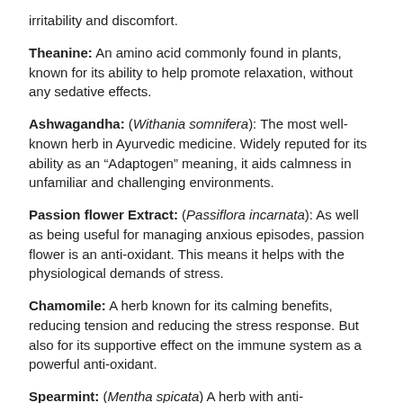irritability and discomfort.
Theanine: An amino acid commonly found in plants, known for its ability to help promote relaxation, without any sedative effects.
Ashwagandha: (Withania somnifera): The most well-known herb in Ayurvedic medicine. Widely reputed for its ability as an "Adaptogen" meaning, it aids calmness in unfamiliar and challenging environments.
Passion flower Extract: (Passiflora incarnata): As well as being useful for managing anxious episodes, passion flower is an anti-oxidant. This means it helps with the physiological demands of stress.
Chamomile: A herb known for its calming benefits, reducing tension and reducing the stress response. But also for its supportive effect on the immune system as a powerful anti-oxidant.
Spearmint: (Mentha spicata) A herb with anti-inflammatory properties that can help sooth the digestive tract and encourage appetite.
Composition: Chamomile, Lemon Balm, Passion Flower,